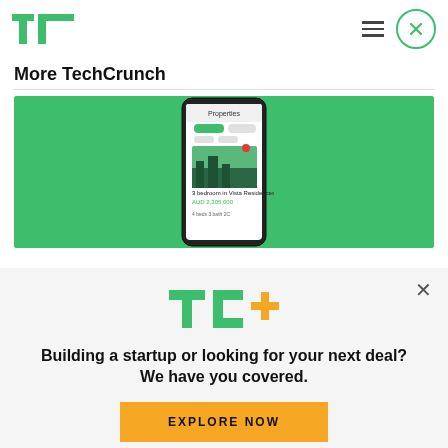TechCrunch navigation bar with TC logo, hamburger menu, and close button
More TechCrunch
[Figure (screenshot): Mobile app screenshot showing a real estate properties listing app on a green background]
[Figure (logo): TC+ logo (TechCrunch Plus) in green and yellow]
Building a startup or looking for your next deal? We have you covered.
EXPLORE NOW